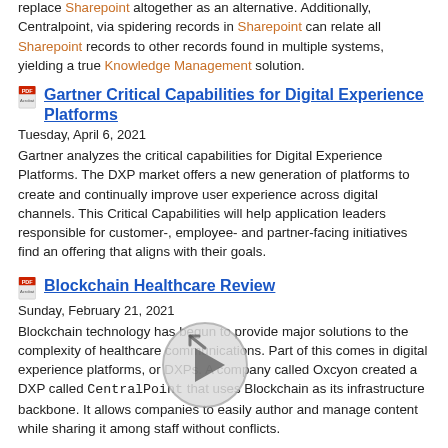replace Sharepoint altogether as an alternative. Additionally, Centralpoint, via spidering records in Sharepoint can relate all Sharepoint records to other records found in multiple systems, yielding a true Knowledge Management solution.
Gartner Critical Capabilities for Digital Experience Platforms — Tuesday, April 6, 2021 — Gartner analyzes the critical capabilities for Digital Experience Platforms. The DXP market offers a new generation of platforms to create and continually improve user experience across digital channels. This Critical Capabilities will help application leaders responsible for customer-, employee- and partner-facing initiatives find an offering that aligns with their goals.
Blockchain Healthcare Review — Sunday, February 21, 2021 — Blockchain technology has begun to provide major solutions to the complexity of healthcare communications. Part of this comes in digital experience platforms, or DXPs. A company called Oxcyon created a DXP called CentralPoint that uses Blockchain as its infrastructure backbone. It allows companies to easily author and manage content while sharing it among staff without conflicts.
Software Advice Features Centralpoint by Oxcyon — Thursday, November 12, 2020 — Get real advice from real people. With one-on-one help and personalized recommendations, we guide you to your top software options.